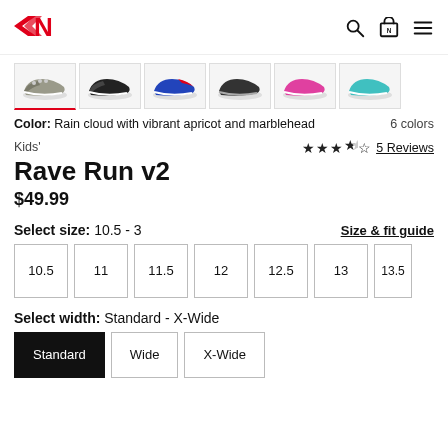[Figure (logo): New Balance red 'N' logo with speed lines]
[Figure (photo): Row of 6 New Balance Rave Run v2 kid's shoe thumbnails in various colorways]
Color: Rain cloud with vibrant apricot and marblehead  6 colors
Kids'
★★★½☆  5 Reviews
Rave Run v2
$49.99
Select size: 10.5 - 3
Size & fit guide
10.5
11
11.5
12
12.5
13
13.5
Select width: Standard - X-Wide
Standard
Wide
X-Wide